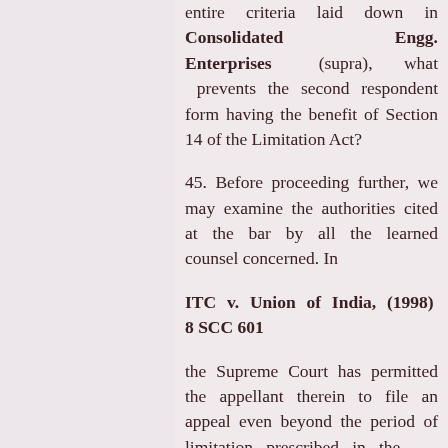entire criteria laid down in Consolidated Engg. Enterprises (supra), what prevents the second respondent form having the benefit of Section 14 of the Limitation Act?
45. Before proceeding further, we may examine the authorities cited at the bar by all the learned counsel concerned. In
ITC v. Union of India, (1998) 8 SCC 601
the Supreme Court has permitted the appellant therein to file an appeal even beyond the period of limitation prescribed in the